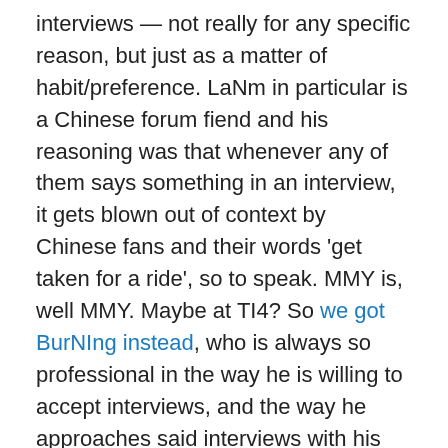interviews — not really for any specific reason, but just as a matter of habit/preference. LaNm in particular is a Chinese forum fiend and his reasoning was that whenever any of them says something in an interview, it gets blown out of context by Chinese fans and their words 'get taken for a ride', so to speak. MMY is, well MMY. Maybe at TI4? So we got BurNIng instead, who is always so professional in the way he is willing to accept interviews, and the way he approaches said interviews with his answers, as well as in the way he's able to stand up and do interviews for his team when the rest of them don't want to.
Then my girlfriend roped BurNIng into playing some Smash Bros with her, apparently. And BurNIng picked Pikachu, they went to Hyrule Castle, and BurNIng died because he didn't know how to jump properly with Pikachu